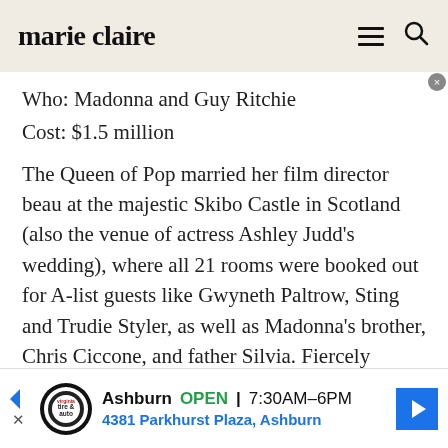marie claire
Who: Madonna and Guy Ritchie
Cost: $1.5 million
The Queen of Pop married her film director beau at the majestic Skibo Castle in Scotland (also the venue of actress Ashley Judd's wedding), where all 21 rooms were booked out for A-list guests like Gwyneth Paltrow, Sting and Trudie Styler, as well as Madonna's brother, Chris Ciccone, and father Silvia. Fiercely private Madonna hired a team of private
Ashburn OPEN 7:30AM–6PM 4381 Parkhurst Plaza, Ashburn